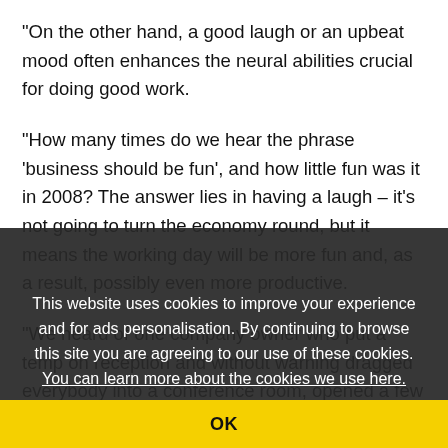“On the other hand, a good laugh or an upbeat mood often enhances the neural abilities crucial for doing good work.
“How many times do we hear the phrase ‘business should be fun’, and how little fun was it in 2008? The answer lies in having a laugh – it’s not going to turn the economy round, but it means the working day will be more fun and, as a result, possibly even more productive.
“We heard of one company owner who put a temp on reception and without warning dragged everybody into a conference room, opened a few bottles of wine and played the movie Mamma Mia; he said the energy, get-up-and-go and generated camaraderie helped fire up his
This website uses cookies to improve your experience and for ads personalisation. By continuing to browse this site you are agreeing to our use of these cookies. You can learn more about the cookies we use here.
OK